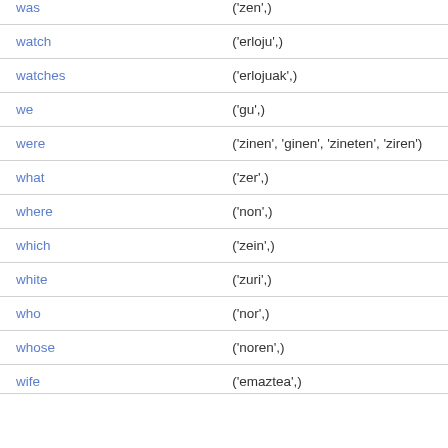| English | Basque |
| --- | --- |
| was | ('zen',) |
| watch | ('erloju',) |
| watches | ('erlojuak',) |
| we | ('gu',) |
| were | ('zinen', 'ginen', 'zineten', 'ziren') |
| what | ('zer',) |
| where | ('non',) |
| which | ('zein',) |
| white | ('zuri',) |
| who | ('nor',) |
| whose | ('noren',) |
| wife | ('emaztea',) |